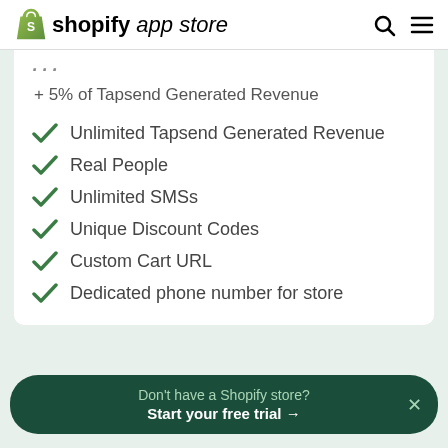shopify app store
+ 5% of Tapsend Generated Revenue
Unlimited Tapsend Generated Revenue
Real People
Unlimited SMSs
Unique Discount Codes
Custom Cart URL
Dedicated phone number for store
Don't have a Shopify store? Start your free trial →